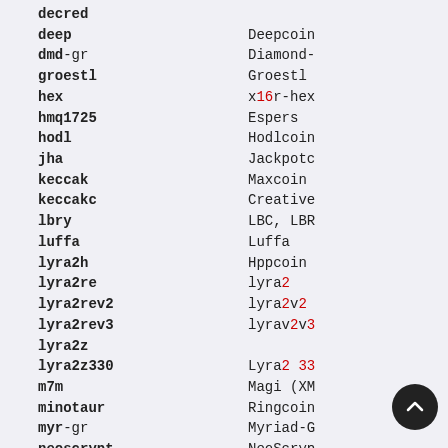| Algorithm | Description |
| --- | --- |
| decred |  |
| deep | Deepcoin |
| dmd-gr | Diamond- |
| groestl | Groestl |
| hex | x16r-hex |
| hmq1725 | Espers |
| hodl | Hodlcoin |
| jha | Jackpotc |
| keccak | Maxcoin |
| keccakc | Creative |
| lbry | LBC, LBR |
| luffa | Luffa |
| lyra2h | Hppcoin |
| lyra2re | lyra2 |
| lyra2rev2 | lyra2v2 |
| lyra2rev3 | lyrav2v3 |
| lyra2z |  |
| lyra2z330 | Lyra2 33 |
| m7m | Magi (XM |
| minotaur | Ringcoin |
| myr-gr | Myriad-G |
| neoscrypt | NeoScryp |
| nist5 | Nist5 |